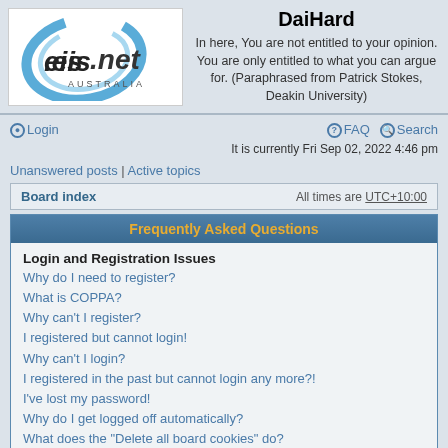DaiHard — In here, You are not entitled to your opinion. You are only entitled to what you can argue for. (Paraphrased from Patrick Stokes, Deakin University)
Login | FAQ | Search
It is currently Fri Sep 02, 2022 4:46 pm
Unanswered posts | Active topics
Board index — All times are UTC+10:00
Frequently Asked Questions
Login and Registration Issues
Why do I need to register?
What is COPPA?
Why can't I register?
I registered but cannot login!
Why can't I login?
I registered in the past but cannot login any more?!
I've lost my password!
Why do I get logged off automatically?
What does the "Delete all board cookies" do?
User Preferences and settings
How do I change my settings?
How do I prevent my username appearing in the online user listings?